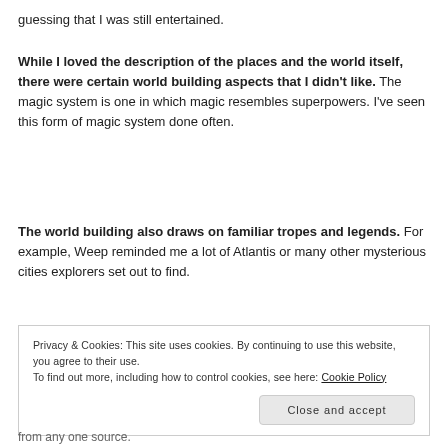guessing that I was still entertained.
While I loved the description of the places and the world itself, there were certain world building aspects that I didn't like. The magic system is one in which magic resembles superpowers. I've seen this form of magic system done often.
The world building also draws on familiar tropes and legends. For example, Weep reminded me a lot of Atlantis or many other mysterious cities explorers set out to find.
Privacy & Cookies: This site uses cookies. By continuing to use this website, you agree to their use.
To find out more, including how to control cookies, see here: Cookie Policy
Close and accept
from any one source.